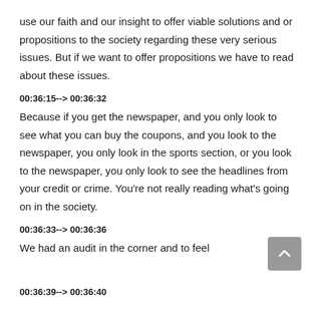use our faith and our insight to offer viable solutions and or propositions to the society regarding these very serious issues. But if we want to offer propositions we have to read about these issues.
00:36:15--> 00:36:32
Because if you get the newspaper, and you only look to see what you can buy the coupons, and you look to the newspaper, you only look in the sports section, or you look to the newspaper, you only look to see the headlines from your credit or crime. You're not really reading what's going on in the society.
00:36:33--> 00:36:36
We had an audit in the corner and to feel
00:36:39--> 00:36:40